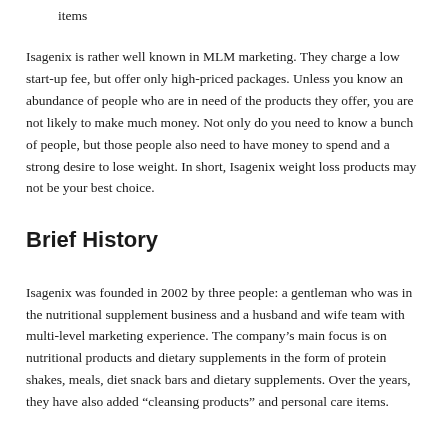items
Isagenix is rather well known in MLM marketing. They charge a low start-up fee, but offer only high-priced packages. Unless you know an abundance of people who are in need of the products they offer, you are not likely to make much money. Not only do you need to know a bunch of people, but those people also need to have money to spend and a strong desire to lose weight. In short, Isagenix weight loss products may not be your best choice.
Brief History
Isagenix was founded in 2002 by three people: a gentleman who was in the nutritional supplement business and a husband and wife team with multi-level marketing experience. The company’s main focus is on nutritional products and dietary supplements in the form of protein shakes, meals, diet snack bars and dietary supplements. Over the years, they have also added “cleansing products” and personal care items.